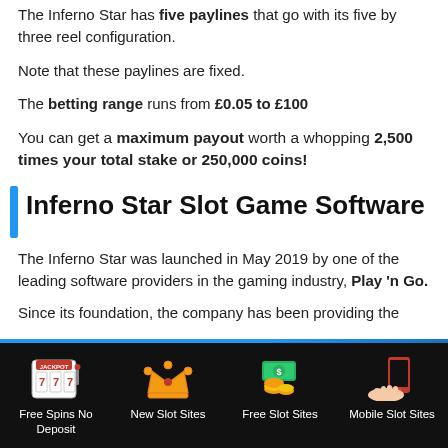The Inferno Star has five paylines that go with its five by three reel configuration.
Note that these paylines are fixed.
The betting range runs from £0.05 to £100
You can get a maximum payout worth a whopping 2,500 times your total stake or 250,000 coins!
Inferno Star Slot Game Software
The Inferno Star was launched in May 2019 by one of the leading software providers in the gaming industry, Play 'n Go.
Since its foundation, the company has been providing the
Free Spins No Deposit | New Slot Sites | Free Slot Sites | Mobile Slot Sites